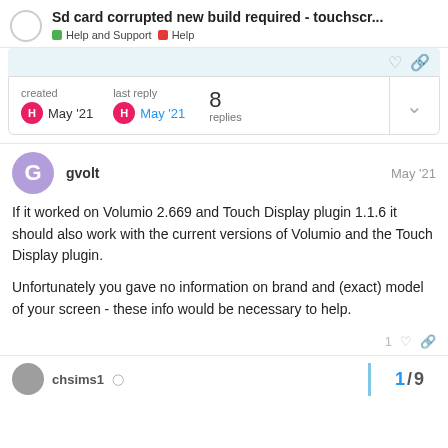Sd card corrupted new build required - touchscr... | Help and Support | Help
created May '21   last reply May '21   8 replies
gvolt   May '21

If it worked on Volumio 2.669 and Touch Display plugin 1.1.6 it should also work with the current versions of Volumio and the Touch Display plugin.

Unfortunately you gave no information on brand and (exact) model of your screen - these info would be necessary to help.
chsims1   1 / 9